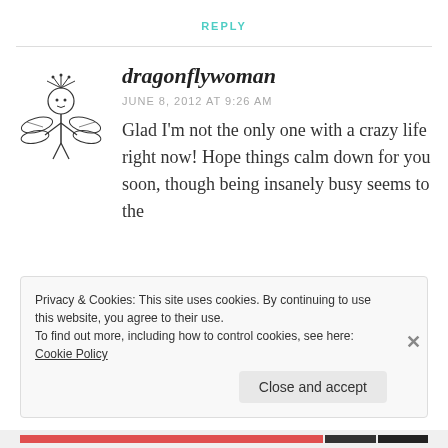REPLY
[Figure (illustration): Dragonfly woman avatar illustration — a stylized figure with dragonfly wings and nature elements]
dragonflywoman
JUNE 8, 2012 AT 9:26 AM
Glad I'm not the only one with a crazy life right now! Hope things calm down for you soon, though being insanely busy seems to the
Privacy & Cookies: This site uses cookies. By continuing to use this website, you agree to their use.
To find out more, including how to control cookies, see here: Cookie Policy
Close and accept